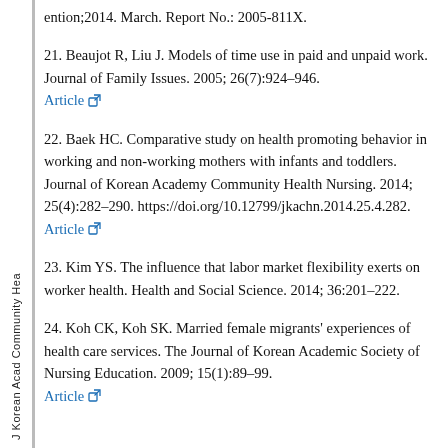ention;2014. March. Report No.: 2005-811X.
21. Beaujot R, Liu J. Models of time use in paid and unpaid work. Journal of Family Issues. 2005; 26(7):924–946. Article
22. Baek HC. Comparative study on health promoting behavior in working and non-working mothers with infants and toddlers. Journal of Korean Academy Community Health Nursing. 2014; 25(4):282–290. https://doi.org/10.12799/jkachn.2014.25.4.282. Article
23. Kim YS. The influence that labor market flexibility exerts on worker health. Health and Social Science. 2014; 36:201–222.
24. Koh CK, Koh SK. Married female migrants' experiences of health care services. The Journal of Korean Academic Society of Nursing Education. 2009; 15(1):89–99. Article
J Korean Acad Community Hea